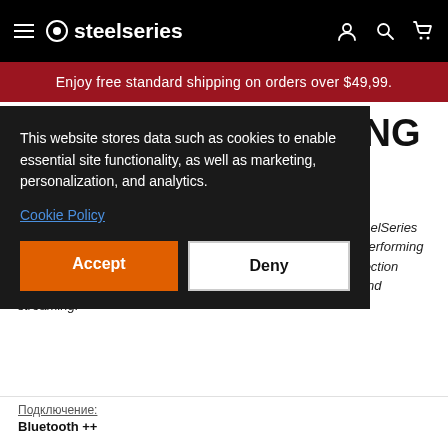steelseries
Enjoy free standard shipping on orders over $49,99.
BLUETOOTH GAMING HEADSETS
(6 ITEMS)
Enjoy wireless Bluetooth connectivity, enjoy the signature SteelSeries comfortable design, and durable quality audio with our best performing headsets. Every wireless bluetooth headset in our Arctis collection comes with a Discord-certified microphone best for gaming and streaming.
This website stores data such as cookies to enable essential site functionality, as well as marketing, personalization, and analytics.
Cookie Policy
Accept
Deny
Подключение:
Bluetooth ++